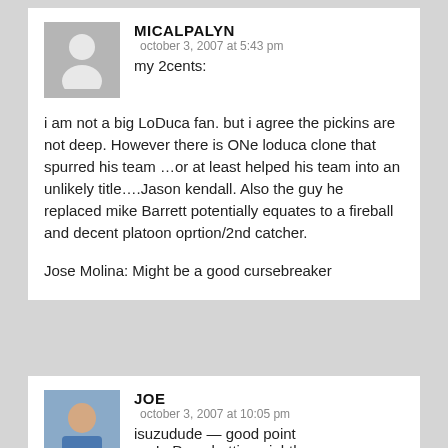MICALPALYN
october 3, 2007 at 5:43 pm
my 2cents:

i am not a big LoDuca fan. but i agree the pickins are not deep. However there is ONe loduca clone that spurred his team …or at least helped his team into an unlikely title….Jason kendall. Also the guy he replaced mike Barrett potentially equates to a fireball and decent platoon oprtion/2nd catcher.

Jose Molina: Might be a good cursebreaker
JOE
october 3, 2007 at 10:05 pm
isuzudude — good point re: LoDuca batting eighth